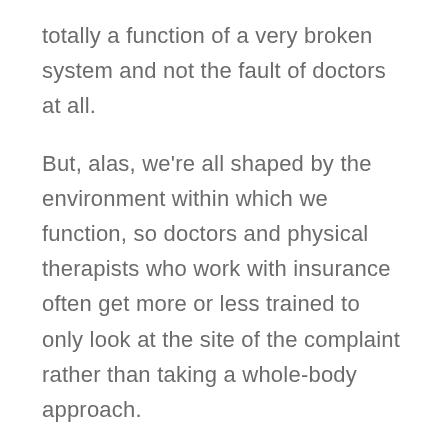totally a function of a very broken system and not the fault of doctors at all.
But, alas, we're all shaped by the environment within which we function, so doctors and physical therapists who work with insurance often get more or less trained to only look at the site of the complaint rather than taking a whole-body approach.
This is the biggest reason I have never taken insurance in my practice. Often, by the time clients get to me, they've had the